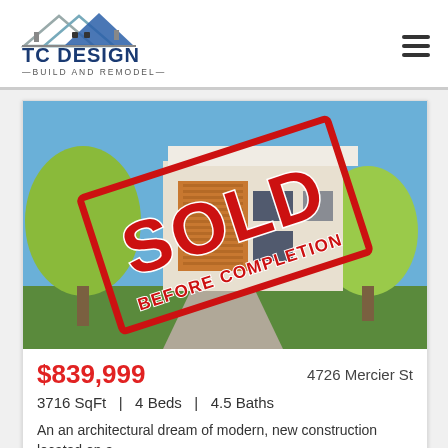[Figure (logo): TC Design Build and Remodel logo with house roof graphic in blue and grey]
[Figure (photo): Modern multi-story architectural rendering of a residential building with wood cladding, white concrete, large trees, and a large red 'SOLD BEFORE COMPLETION' stamp overlay]
$839,999
4726 Mercier St
3716 SqFt   |   4 Beds   |   4.5 Baths
An an architectural dream of modern, new construction located on a